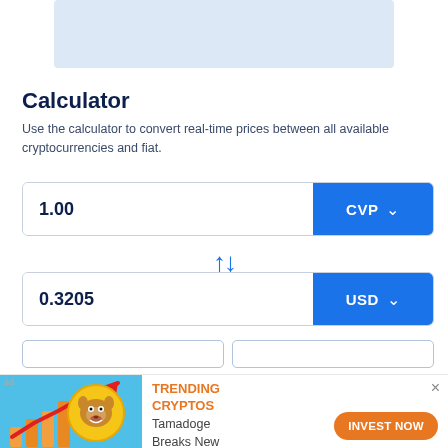[Figure (other): Light blue banner/advertisement placeholder at the top of the page]
Calculator
Use the calculator to convert real-time prices between all available cryptocurrencies and fiat.
[Figure (infographic): Currency converter UI: input field showing 1.00 with CVP dropdown button]
[Figure (infographic): Swap icon (up-down arrows) between the two currency fields]
[Figure (infographic): Currency converter UI: input field showing 0.3205 with USD dropdown button]
[Figure (infographic): Advertisement banner: Tamadoge coin illustration with TRENDING CRYPTOS label, text 'Tamadoge Breaks New Record with Presale Campaign' and INVEST NOW button]